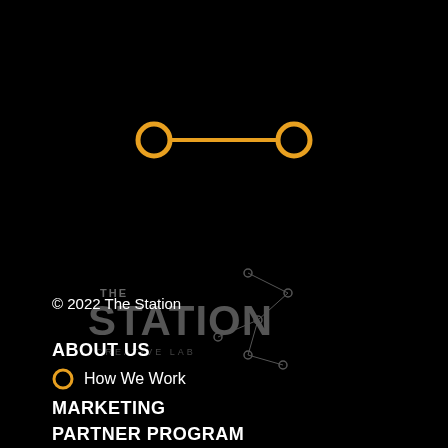[Figure (logo): Orange icon showing two circles connected by a horizontal line, resembling a dumbbell or node-link diagram]
[Figure (logo): The Station logo in dark/grey tones with network node graphic and text reading THE STATION with subtitle]
© 2022 The Station
ABOUT US
How We Work
MARKETING
PARTNER PROGRAM